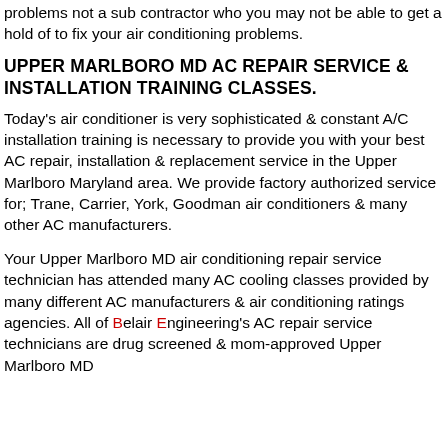problems not a sub contractor who you may not be able to get a hold of to fix your air conditioning problems.
UPPER MARLBORO MD AC REPAIR SERVICE & INSTALLATION TRAINING CLASSES.
Today's air conditioner is very sophisticated & constant A/C installation training is necessary to provide you with your best AC repair, installation & replacement service in the Upper Marlboro Maryland area. We provide factory authorized service for; Trane, Carrier, York, Goodman air conditioners & many other AC manufacturers.
Your Upper Marlboro MD air conditioning repair service technician has attended many AC cooling classes provided by many different AC manufacturers & air conditioning ratings agencies. All of Belair Engineering's AC repair service technicians are drug screened & mom-approved Upper Marlboro MD